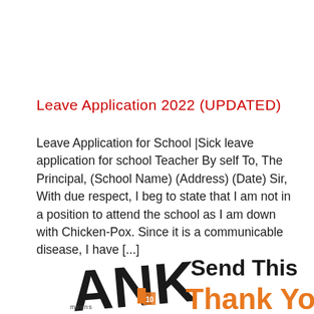Leave Application 2022 (UPDATED)
Leave Application for School |Sick leave application for school Teacher By self To, The Principal, (School Name) (Address) (Date) Sir, With due respect, I beg to state that I am not in a position to attend the school as I am down with Chicken-Pox. Since it is a communicable disease, I have [...]
[Figure (logo): Partial logo showing letters 'ANK' rotated/stacked in black bold text with additional smaller text below, and orange accent element]